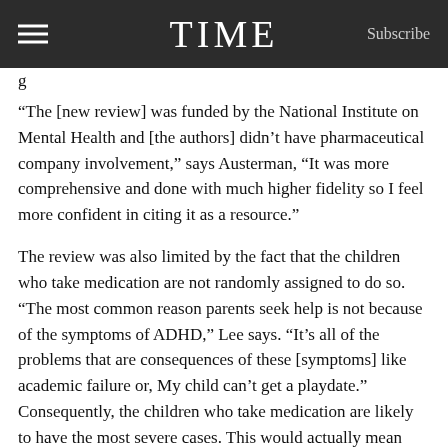TIME | Subscribe
g
“The [new review] was funded by the National Institute on Mental Health and [the authors] didn’t have pharmaceutical company involvement,” says Austerman, “It was more comprehensive and done with much higher fidelity so I feel more confident in citing it as a resource.”
The review was also limited by the fact that the children who take medication are not randomly assigned to do so. “The most common reason parents seek help is not because of the symptoms of ADHD,” Lee says. “It’s all of the problems that are consequences of these [symptoms] like academic failure or, My child can’t get a playdate.”  Consequently, the children who take medication are likely to have the most severe cases. This would actually mean that the research underestimates any protective effects of the medication.